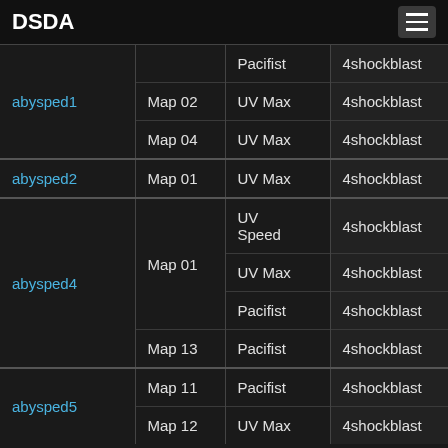DSDA
| WAD | Map | Category | Player |
| --- | --- | --- | --- |
| abysped1 |  | Pacifist | 4shockblast |
|  | Map 02 | UV Max | 4shockblast |
|  | Map 04 | UV Max | 4shockblast |
| abysped2 | Map 01 | UV Max | 4shockblast |
| abysped4 | Map 01 | UV Speed | 4shockblast |
|  | Map 01 | UV Max | 4shockblast |
|  | Map 01 | Pacifist | 4shockblast |
|  | Map 13 | Pacifist | 4shockblast |
| abysped5 | Map 11 | Pacifist | 4shockblast |
|  | Map 12 | UV Max | 4shockblast |